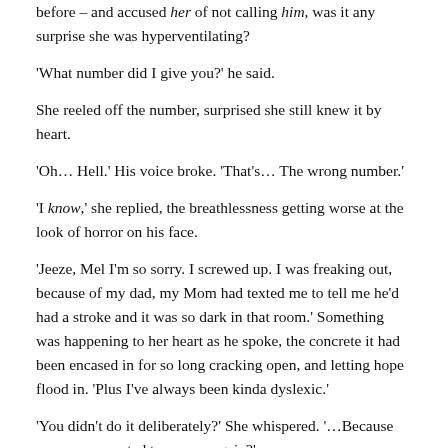before – and accused her of not calling him, was it any surprise she was hyperventilating?
'What number did I give you?' he said.
She reeled off the number, surprised she still knew it by heart.
'Oh… Hell.' His voice broke. 'That's… The wrong number.'
'I know,' she replied, the breathlessness getting worse at the look of horror on his face.
'Jeeze, Mel I'm so sorry. I screwed up. I was freaking out, because of my dad, my Mom had texted me to tell me he'd had a stroke and it was so dark in that room.' Something was happening to her heart as he spoke, the concrete it had been encased in for so long cracking open, and letting hope flood in. 'Plus I've always been kinda dyslexic.'
'You didn't do it deliberately?' She whispered. '…Because you never wanted to see me again?'
'Are you kidding me? No way!'
At last he touched her, his hands chilled from the sea gripping